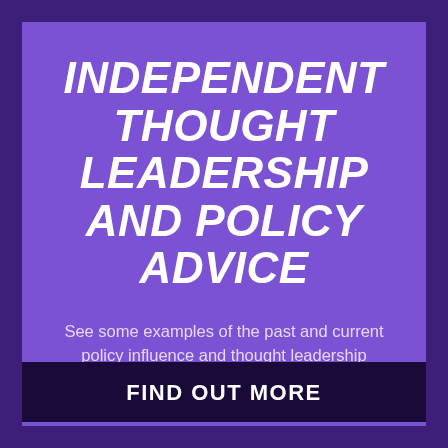INDEPENDENT THOUGHT LEADERSHIP AND POLICY ADVICE
See some examples of the past and current policy influence and thought leadership projects.
FIND OUT MORE